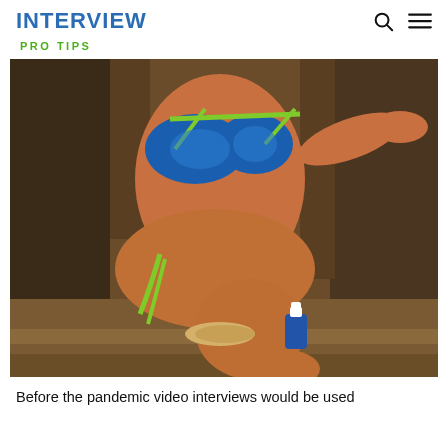INTERVIEW
PRO TIPS
[Figure (photo): A woman in a green and blue patterned bikini sitting on wooden steps/deck, viewed from torso down, with a small blue bottle and sandals nearby. Another person visible in the background.]
Before the pandemic video interviews would be used